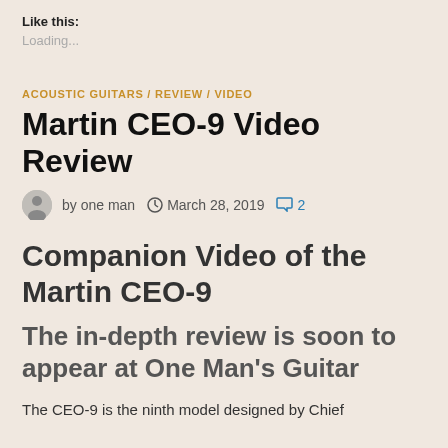Like this:
Loading...
ACOUSTIC GUITARS / REVIEW / VIDEO
Martin CEO-9 Video Review
by one man  March 28, 2019  2
Companion Video of the Martin CEO-9
The in-depth review is soon to appear at One Man's Guitar
The CEO-9 is the ninth model designed by Chief